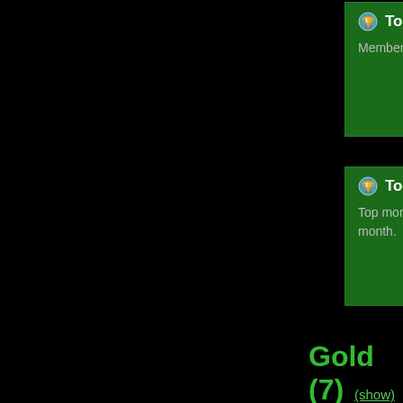[Figure (other): Top Clan (x14) badge card - green background with trophy icon. Text: Member of top clan. Awarded end of each month.]
[Figure (other): Top Energy Month (x1) badge card - green background with trophy icon. Text: Top monthly energy in game. Awarded end of each month.]
Gold (7)
(show)
Silver (11)
(show)
Bronze (40)
(show)
Shadows
Shadows are faded memories of what once was. Orbit